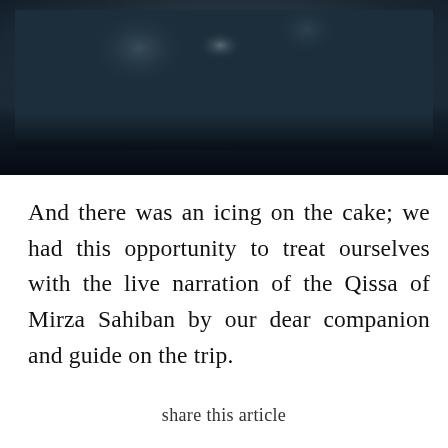[Figure (photo): Dark atmospheric photograph showing figures in dim, moody lighting with dark blue-grey tones, partially cropped at top of page.]
And there was an icing on the cake; we had this opportunity to treat ourselves with the live narration of the Qissa of Mirza Sahiban by our dear companion and guide on the trip.
share this article